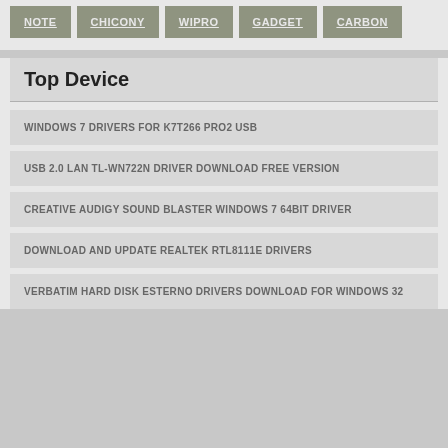NOTE
CHICONY
WIPRO
GADGET
CARBON
Top Device
WINDOWS 7 DRIVERS FOR K7T266 PRO2 USB
USB 2.0 LAN TL-WN722N DRIVER DOWNLOAD FREE VERSION
CREATIVE AUDIGY SOUND BLASTER WINDOWS 7 64BIT DRIVER
DOWNLOAD AND UPDATE REALTEK RTL8111E DRIVERS
VERBATIM HARD DISK ESTERNO DRIVERS DOWNLOAD FOR WINDOWS 32